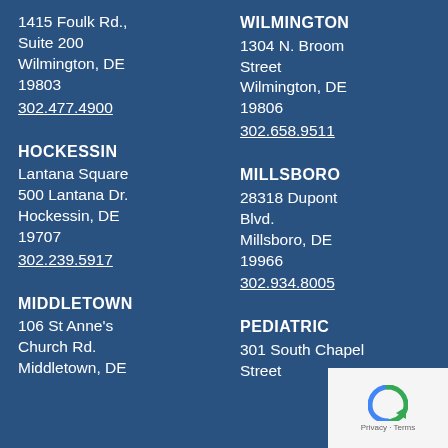1415 Foulk Rd., Suite 200
Wilmington, DE 19803
302.477.4900
HOCKESSIN
Lantana Square
500 Lantana Dr.
Hockessin, DE 19707
302.239.5917
MIDDLETOWN
106 St Anne's Church Rd.
Middletown, DE
WILMINGTON
1304 N. Broom Street
Wilmington, DE 19806
302.658.9511
MILLSBORO
28318 Dupont Blvd.
Millsboro, DE 19966
302.934.8005
PEDIATRIC
301 South Chapel Street